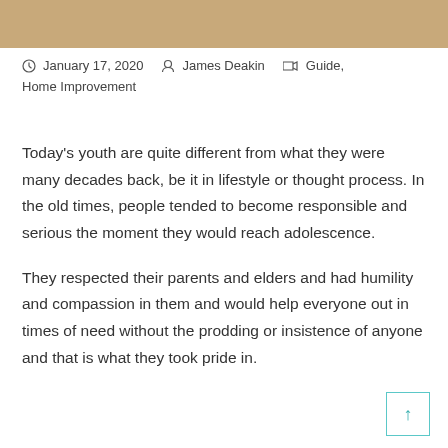[Figure (photo): Close-up photo of wooden surface or flooring, brownish tan color, cropped at top of page.]
January 17, 2020   James Deakin   Guide, Home Improvement
Today's youth are quite different from what they were many decades back, be it in lifestyle or thought process. In the old times, people tended to become responsible and serious the moment they would reach adolescence.
They respected their parents and elders and had humility and compassion in them and would help everyone out in times of need without the prodding or insistence of anyone and that is what they took pride in.